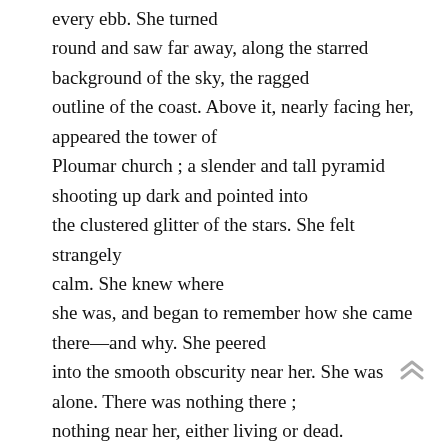every ebb. She turned round and saw far away, along the starred background of the sky, the ragged outline of the coast. Above it, nearly facing her, appeared the tower of Ploumar church ; a slender and tall pyramid shooting up dark and pointed into the clustered glitter of the stars. She felt strangely calm. She knew where she was, and began to remember how she came there—and why. She peered into the smooth obscurity near her. She was alone. There was nothing there ; nothing near her, either living or dead.

The tide was creeping in quietly, putting out long impatient arms of strange rivulets that ran towards the land